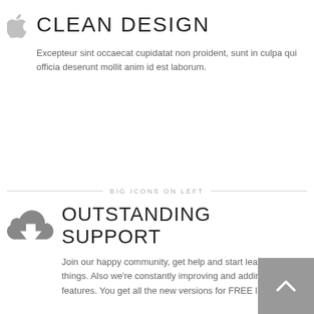[Figure (illustration): Small Apple logo icon in light gray]
CLEAN DESIGN
Excepteur sint occaecat cupidatat non proident, sunt in culpa qui officia deserunt mollit anim id est laborum.
BIG ICONS ON LEFT
[Figure (illustration): Gray cloud with downward arrow download icon]
OUTSTANDING SUPPORT
Join our happy community, get help and start learning new things. Also we're constantly improving and adding new features. You get all the new versions for FREE life-time.